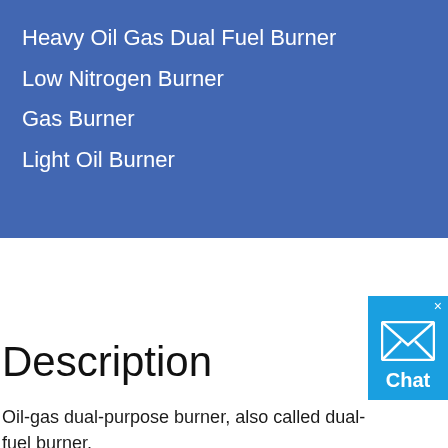Heavy Oil Gas Dual Fuel Burner
Low Nitrogen Burner
Gas Burner
Light Oil Burner
Description
Oil-gas dual-purpose burner, also called dual-fuel burner, refers to a burner that uses gas or oil as fuel, and can use gas